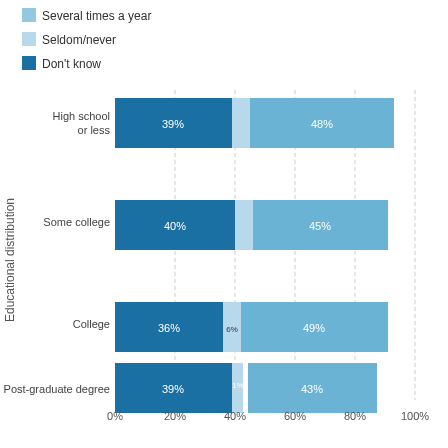[Figure (stacked-bar-chart): Educational distribution]